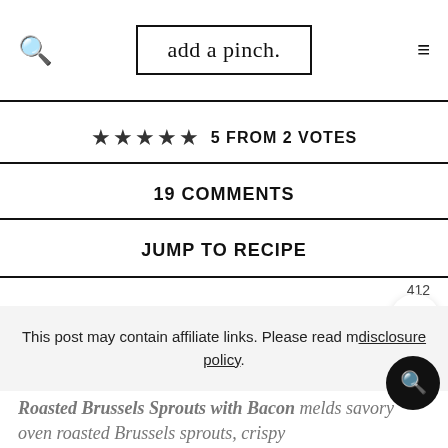add a pinch.
★★★★★ 5 FROM 2 VOTES
19 COMMENTS
JUMP TO RECIPE
412
This post may contain affiliate links. Please read my disclosure policy.
Roasted Brussels Sprouts with Bacon melds savory oven roasted Brussels sprouts, crispy